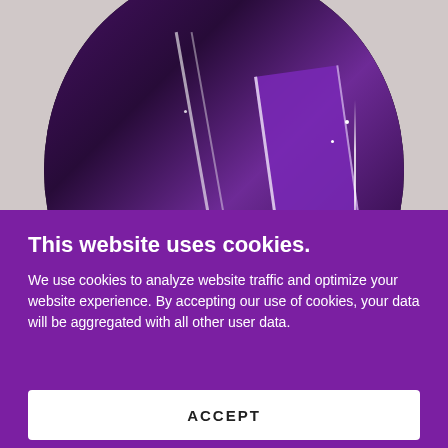RAQISA®
[Figure (photo): Circular cropped photo showing purple/violet fabric with white stripes and crystal/gem decorations, set against a dark background]
This website uses cookies.
We use cookies to analyze website traffic and optimize your website experience. By accepting our use of cookies, your data will be aggregated with all other user data.
ACCEPT